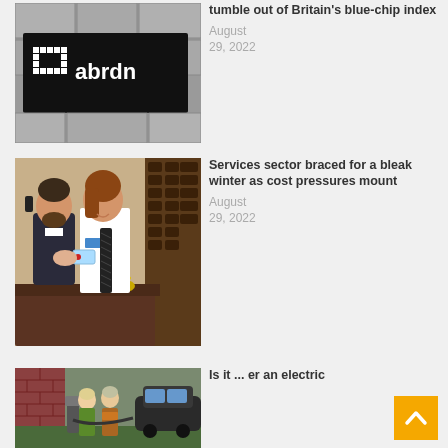[Figure (photo): abrdn company sign — black sign with white abrdn logo and pixelated square icon mounted on stone wall]
tumble out of Britain's blue-chip index
August 29, 2022
[Figure (photo): Hotel reception desk scene — male staff member on phone, female receptionist in white shirt and dark tie handing a key card to a guest]
Services sector braced for a bleak winter as cost pressures mount
August 29, 2022
[Figure (photo): Two women standing outdoors near a house next to an electric vehicle charging station]
Is it ... er an electric